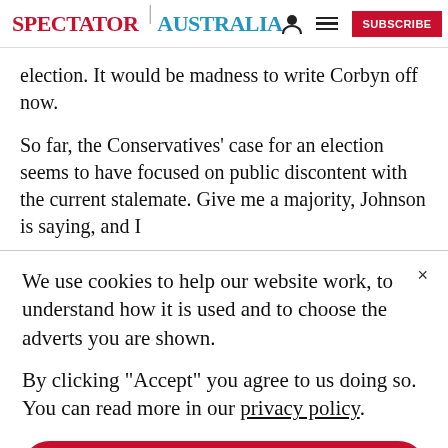SPECTATOR | AUSTRALIA
election. It would be madness to write Corbyn off now.
So far, the Conservatives' case for an election seems to have focused on public discontent with the current stalemate. Give me a majority, Johnson is saying, and I
We use cookies to help our website work, to understand how it is used and to choose the adverts you are shown.
By clicking "Accept" you agree to us doing so. You can read more in our privacy policy.
Accept